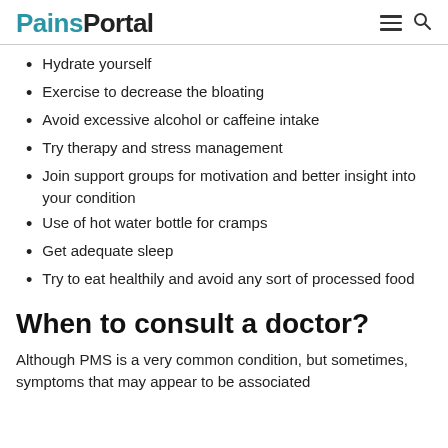PainsPortal
Hydrate yourself
Exercise to decrease the bloating
Avoid excessive alcohol or caffeine intake
Try therapy and stress management
Join support groups for motivation and better insight into your condition
Use of hot water bottle for cramps
Get adequate sleep
Try to eat healthily and avoid any sort of processed food
When to consult a doctor?
Although PMS is a very common condition, but sometimes, symptoms that may appear to be associated